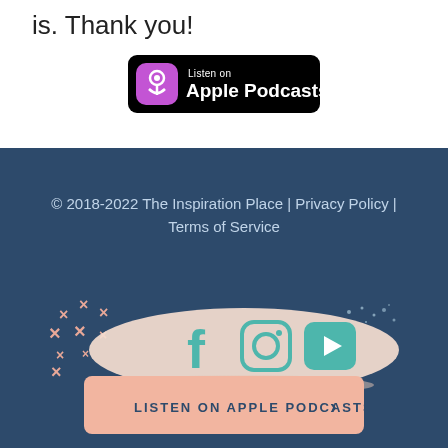is. Thank you!
[Figure (logo): Apple Podcasts badge — black rounded rectangle with Listen on Apple Podcasts text and podcast icon]
© 2018-2022 The Inspiration Place | Privacy Policy | Terms of Service
[Figure (illustration): Social media icons (Facebook, Instagram, YouTube) on a brush-stroke background with decorative x marks]
[Figure (other): LISTEN ON APPLE PODCASTS button in peach/salmon color]